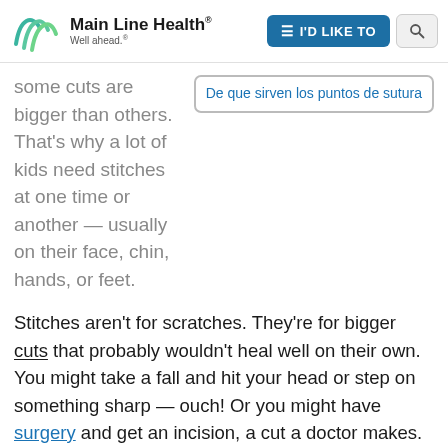Main Line Health® Well ahead.®
some cuts are bigger than others. That's why a lot of kids need stitches at one time or another — usually on their face, chin, hands, or feet.
De que sirven los puntos de sutura
Stitches aren't for scratches. They're for bigger cuts that probably wouldn't heal well on their own. You might take a fall and hit your head or step on something sharp — ouch! Or you might have surgery and get an incision, a cut a doctor makes.
That's where stitches come in. They join the sides of the cut together so that it can heal. If you need stitches, you don't need to worry, but you do need